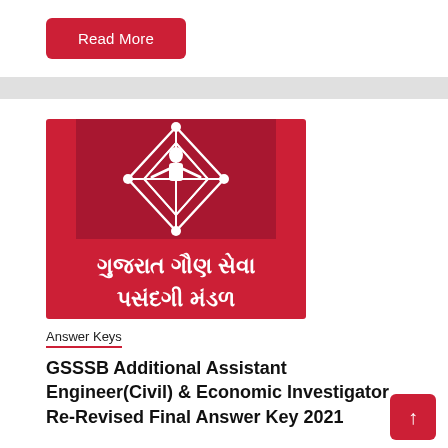Read More
[Figure (logo): Gujarat Gaun Seva Pasandagi Mandal (GSSSB) logo — white figure and geometric diamond pattern on dark red background, with Gujarati text below on red background reading ગુજરાત ગૌણ સેવા પસંદગી મંડળ]
Answer Keys
GSSSB Additional Assistant Engineer(Civil) & Economic Investigator Re-Revised Final Answer Key 2021